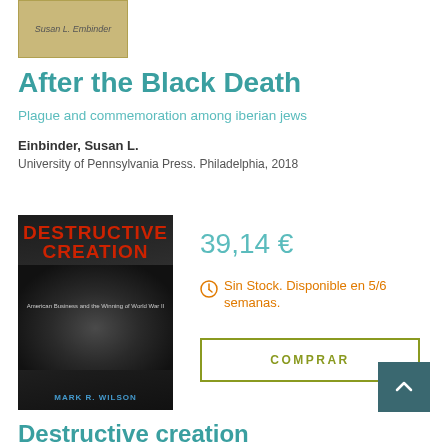[Figure (photo): Book cover with tan/beige background showing 'Susan L. Embinder' text]
After the Black Death
Plague and commemoration among iberian jews
Einbinder, Susan L.
University of Pennsylvania Press. Philadelphia, 2018
[Figure (photo): Book cover for 'Destructive Creation: American Business and the Winning of World War II' by Mark R. Wilson. Dark background with red title text and aircraft image.]
39,14 €
Sin Stock. Disponible en 5/6 semanas.
COMPRAR
Destructive creation